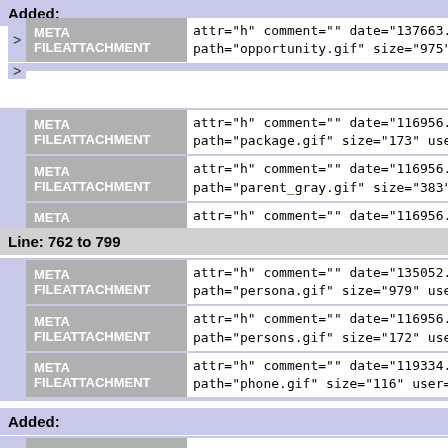Added:
META FILEATTACHMENT attr="h" comment="" date="137663... path="opportunity.gif" size="975" u...
META FILEATTACHMENT attr="h" comment="" date="116956... path="package.gif" size="173" use...
META FILEATTACHMENT attr="h" comment="" date="116956... path="parent_gray.gif" size="383"...
META FILEATTACHMENT attr="h" comment="" date="116956... path="parked.gif" size="225" user=...
Line: 762 to 799
META FILEATTACHMENT attr="h" comment="" date="135052... path="persona.gif" size="979" use...
META FILEATTACHMENT attr="h" comment="" date="116956... path="persons.gif" size="172" use...
META FILEATTACHMENT attr="h" comment="" date="119334... path="phone.gif" size="116" user=...
Added: